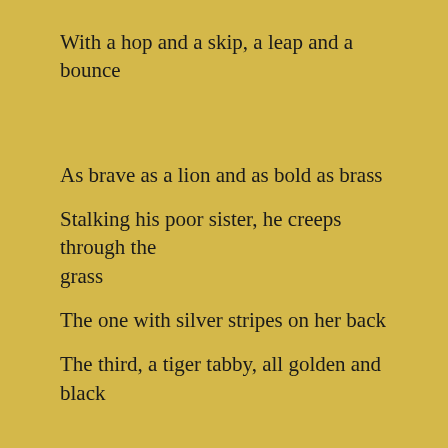With a hop and a skip, a leap and a bounce
As brave as a lion and as bold as brass
Stalking his poor sister, he creeps through the grass
The one with silver stripes on her back
The third, a tiger tabby, all golden and black
So easily distracted there is so much to see